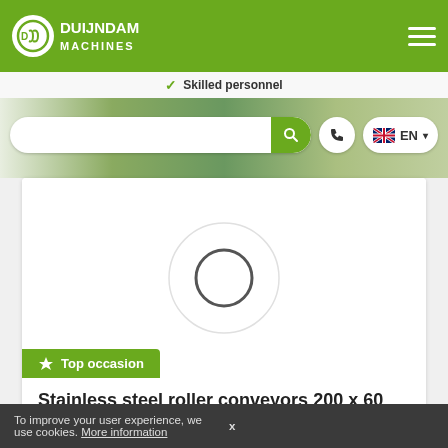[Figure (logo): Duijndam Machines logo with circular icon and company name in white on green background]
Skilled personnel
[Figure (screenshot): Hero background photo of agricultural field with workers]
[Figure (screenshot): Search bar with search button, phone icon, and EN language selector]
[Figure (photo): Product image placeholder with circular loading spinner]
Top occasion
Stainless steel roller conveyors 200 x 60 cm
+ Add
To improve your user experience, we use cookies. More information